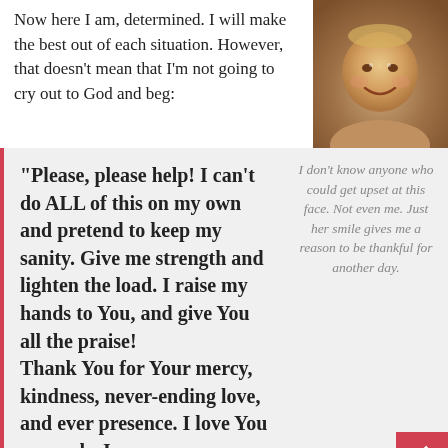Now here I am, determined. I will make the best out of each situation. However, that doesn't mean that I'm not going to cry out to God and beg:
[Figure (photo): Sepia-toned photograph of a smiling baby with light hair]
“Please, please help! I can’t do ALL of this on my own and pretend to keep my sanity. Give me strength and lighten the load. I raise my hands to You, and give You all the praise! Thank You for Your mercy, kindness, never-ending love, and ever presence. I love You so much, Je…
I don’t know anyone who could get upset at this face. Not even me. Just her smile gives me a reason to be thankful for another day.